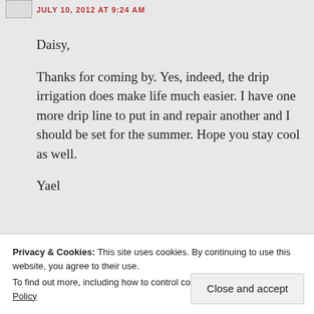JULY 10, 2012 AT 9:24 AM
Daisy,

Thanks for coming by. Yes, indeed, the drip irrigation does make life much easier. I have one more drip line to put in and repair another and I should be set for the summer. Hope you stay cool as well.

Yael
★ Like
Privacy & Cookies: This site uses cookies. By continuing to use this website, you agree to their use.
To find out more, including how to control cookies, see here: Cookie Policy
Close and accept